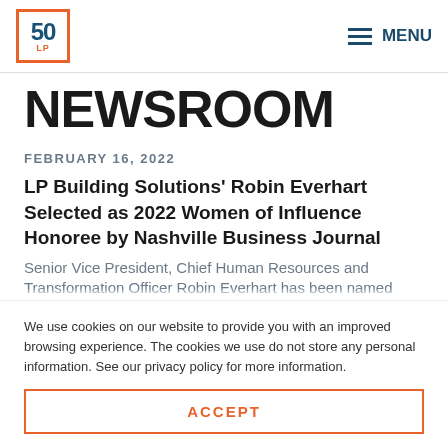50 LP | MENU
NEWSROOM
FEBRUARY 16, 2022
LP Building Solutions’ Robin Everhart Selected as 2022 Women of Influence Honoree by Nashville Business Journal
Senior Vice President, Chief Human Resources and Transformation Officer Robin Everhart has been named
We use cookies on our website to provide you with an improved browsing experience. The cookies we use do not store any personal information. See our privacy policy for more information.
ACCEPT